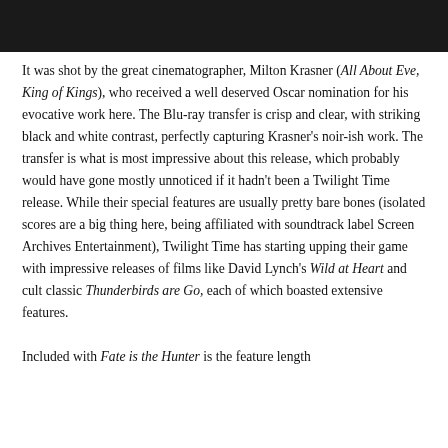[Figure (photo): Black and white photograph strip at top of page, showing partial view of people]
It was shot by the great cinematographer, Milton Krasner (All About Eve, King of Kings), who received a well deserved Oscar nomination for his evocative work here. The Blu-ray transfer is crisp and clear, with striking black and white contrast, perfectly capturing Krasner's noir-ish work. The transfer is what is most impressive about this release, which probably would have gone mostly unnoticed if it hadn't been a Twilight Time release. While their special features are usually pretty bare bones (isolated scores are a big thing here, being affiliated with soundtrack label Screen Archives Entertainment), Twilight Time has starting upping their game with impressive releases of films like David Lynch's Wild at Heart and cult classic Thunderbirds are Go, each of which boasted extensive features.
Included with Fate is the Hunter is the feature length